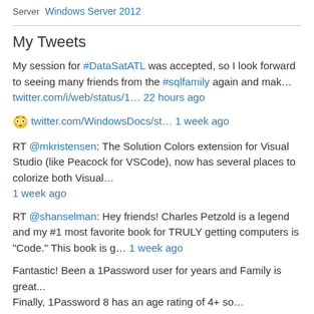Server  Windows Server 2012
My Tweets
My session for #DataSatATL was accepted, so I look forward to seeing many friends from the #sqlfamily again and mak… twitter.com/i/web/status/1… 22 hours ago
😳 twitter.com/WindowsDocs/st… 1 week ago
RT @mkristensen: The Solution Colors extension for Visual Studio (like Peacock for VSCode), now has several places to colorize both Visual… 1 week ago
RT @shanselman: Hey friends! Charles Petzold is a legend and my #1 most favorite book for TRULY getting computers is "Code." This book is g… 1 week ago
Fantastic! Been a 1Password user for years and Family is great... Finally, 1Password 8 has an age rating of 4+ so…